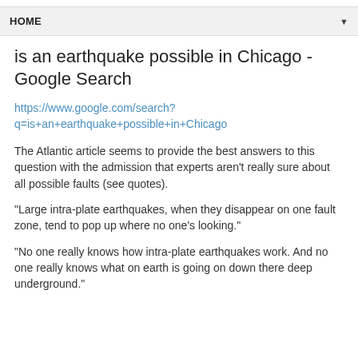HOME
is an earthquake possible in Chicago - Google Search
https://www.google.com/search?q=is+an+earthquake+possible+in+Chicago
The Atlantic article seems to provide the best answers to this question with the admission that experts aren't really sure about all possible faults (see quotes).
"Large intra-plate earthquakes, when they disappear on one fault zone, tend to pop up where no one's looking."
"No one really knows how intra-plate earthquakes work. And no one really knows what on earth is going on down there deep underground."